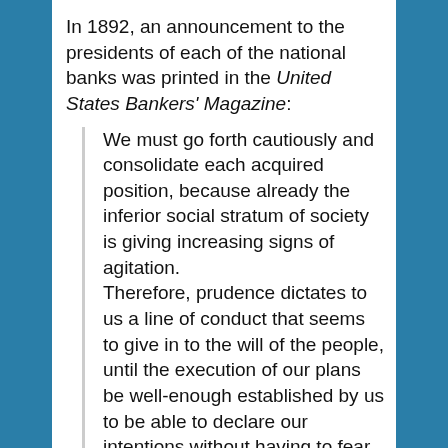In 1892, an announcement to the presidents of each of the national banks was printed in the United States Bankers' Magazine:
We must go forth cautiously and consolidate each acquired position, because already the inferior social stratum of society is giving increasing signs of agitation. Therefore, prudence dictates to us a line of conduct that seems to give in to the will of the people, until the execution of our plans be well-enough established by us to be able to declare our intentions without having to fear any organized resistance.